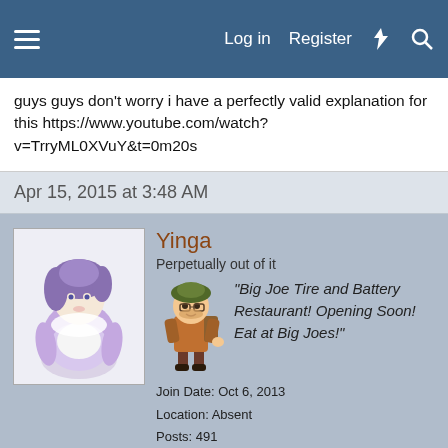Log in  Register
guys guys don't worry i have a perfectly valid explanation for this https://www.youtube.com/watch?v=TrryML0XVuY&t=0m20s
Apr 15, 2015 at 3:48 AM
Yinga
Perpetually out of it
"Big Joe Tire and Battery Restaurant! Opening Soon! Eat at Big Joes!"
Join Date: Oct 6, 2013
Location: Absent
Posts: 491
Age: 22
Apr 15, 2015  #124
llammillay said:
No, I was saying instead of removing it in the first place, he could of tried to add cool uses for it.